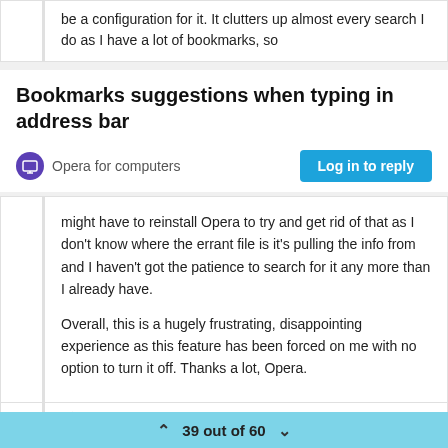be a configuration for it. It clutters up almost every search I do as I have a lot of bookmarks, so
Bookmarks suggestions when typing in address bar
Opera for computers
Log in to reply
might have to reinstall Opera to try and get rid of that as I don't know where the errant file is it's pulling the info from and I haven't got the patience to search for it any more than I already have.

Overall, this is a hugely frustrating, disappointing experience as this feature has been forced on me with no option to turn it off. Thanks a lot, Opera.
39 out of 60